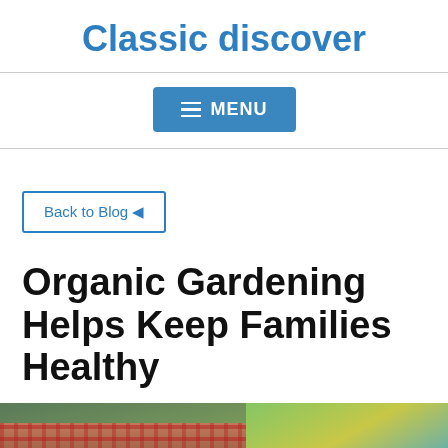Classic discover
[Figure (other): Navigation menu button with hamburger icon and text MENU on blue background]
Back to Blog ←
Organic Gardening Helps Keep Families Healthy
[Figure (photo): Photo of a person in a plaid shirt outdoors, with colorful background, cropped to show torso and partial face]